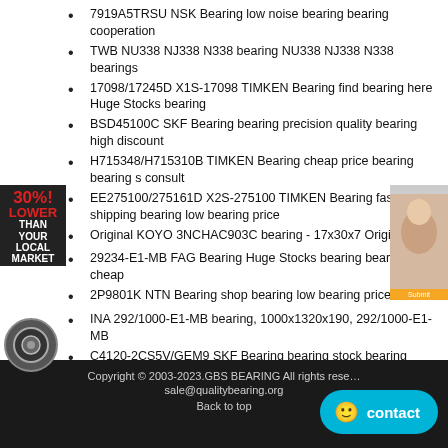7919A5TRSU NSK Bearing low noise bearing bearing cooperation
TWB NU338 NJ338 N338 bearing NU338 NJ338 N338 bearings
17098/17245D X1S-17098 TIMKEN Bearing find bearing here Huge Stocks bearing
BSD45100C SKF Bearing bearing precision quality bearing high discount
H715348/H715310B TIMKEN Bearing cheap price bearing bearing s consult
EE275100/275161D X2S-275100 TIMKEN Bearing fast shipping bearing low bearing price
Original KOYO 3NCHAC903C bearing - 17x30x7 Original
29234-E1-MB FAG Bearing Huge Stocks bearing bearing cheap
2P9801K NTN Bearing shop bearing low bearing price
INA 292/1000-E1-MB bearing, 1000x1320x190, 292/1000-E1-MB
C4120-2CS5V/GEM9 SKF Bearing bearing stock bearing online
RNNU13404 NTN Bearing bearing products bearing online store
NTN CRD-12002 Norwegian | NTN Bearings Best Service
[Figure (infographic): 30% LOWER THAN YOUR LOCAL MARKET sidebar ad in dark background with red text]
[Figure (photo): Right side advertisement with person image]
[Figure (photo): Bearing circular product image at bottom left of sidebar]
Copyright © 2003-2023.GBS BEARING All rights reserved   sale@qualitybearing.org   Back to top
[Figure (other): Contact button with smiley icon in cyan/blue color]